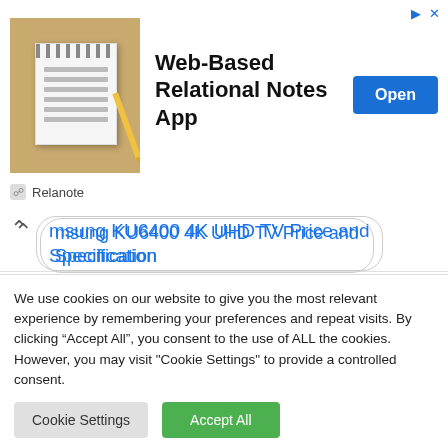[Figure (screenshot): Advertisement banner for 'Web-Based Relational Notes App' by Relanote, showing a notepad image, bold title, and blue Open button]
Samsung KU6400 4K UHD TV Price and Specification
Ensuring royalties are paid on ebooks
How to donwload Songs from Mp3juices
Cowrywise Customer Care Phone Number and Email Address
We use cookies on our website to give you the most relevant experience by remembering your preferences and repeat visits. By clicking “Accept All”, you consent to the use of ALL the cookies. However, you may visit "Cookie Settings" to provide a controlled consent.